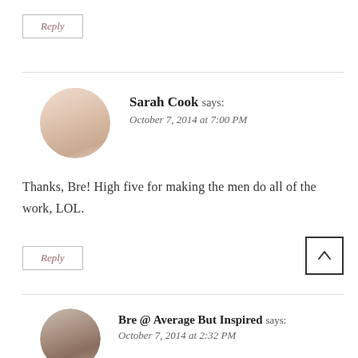Reply
Sarah Cook says:
October 7, 2014 at 7:00 PM
Thanks, Bre! High five for making the men do all of the work, LOL.
Reply
Bre @ Average But Inspired says:
October 7, 2014 at 2:32 PM